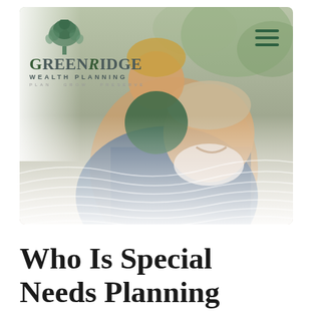[Figure (photo): GreenRidge Wealth Planning website screenshot showing a smiling middle-aged man with white beard lifting a young child on his shoulders, outdoors in a natural setting. The company logo appears in the upper left with a tree emblem above the stylized text 'GreenRidge Wealth Planning' and tagline 'Plan Grow Preserve'. A hamburger menu icon appears in the upper right. Decorative wave lines overlay the lower portion of the image.]
Who Is Special Needs Planning